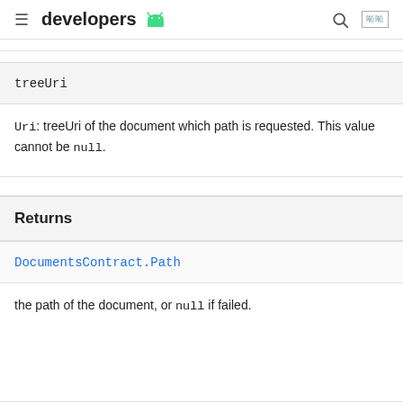developers
treeUri
Uri: treeUri of the document which path is requested. This value cannot be null.
Returns
DocumentsContract.Path
the path of the document, or null if failed.